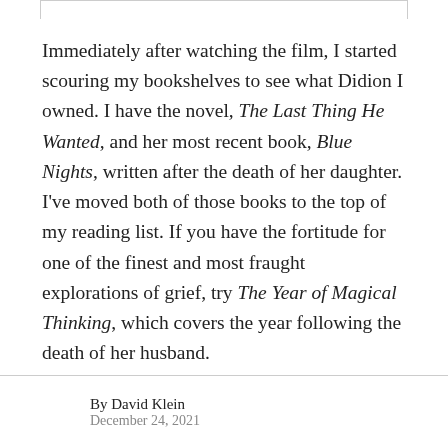Immediately after watching the film, I started scouring my bookshelves to see what Didion I owned. I have the novel, The Last Thing He Wanted, and her most recent book, Blue Nights, written after the death of her daughter. I've moved both of those books to the top of my reading list. If you have the fortitude for one of the finest and most fraught explorations of grief, try The Year of Magical Thinking, which covers the year following the death of her husband.
By David Klein
December 24, 2021